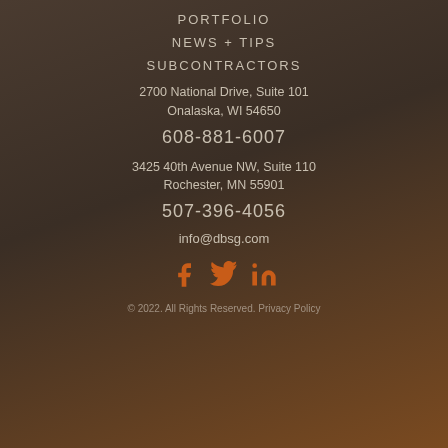PORTFOLIO
NEWS + TIPS
SUBCONTRACTORS
2700 National Drive, Suite 101
Onalaska, WI 54650
608-881-6007
3425 40th Avenue NW, Suite 110
Rochester, MN 55901
507-396-4056
info@dbsg.com
[Figure (illustration): Social media icons: Facebook, Twitter, LinkedIn in orange color]
© 2022. All Rights Reserved. Privacy Policy